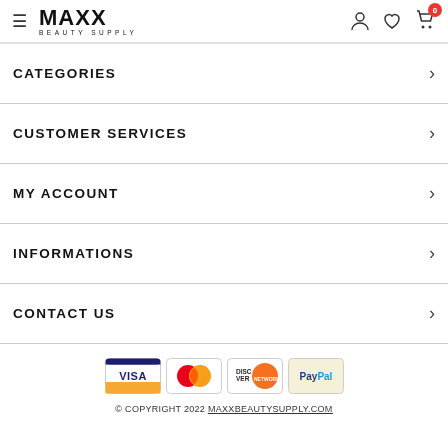MAXX BEAUTY SUPPLY — navigation header
CATEGORIES
CUSTOMER SERVICES
MY ACCOUNT
INFORMATIONS
CONTACT US
[Figure (logo): Payment logos: Visa, MasterCard, Discover, PayPal]
© COPYRIGHT 2022 MAXXBEAUTYSUPPLY.COM